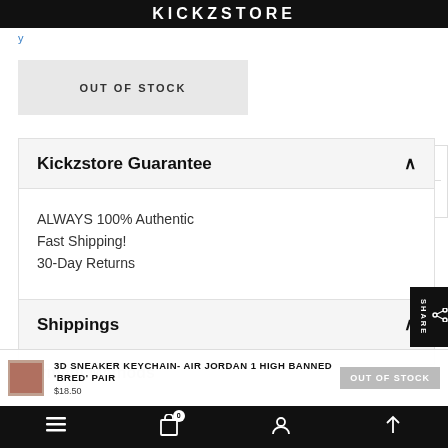KICKZSTORE
y
OUT OF STOCK
Kickzstore Guarantee
ALWAYS 100% Authentic
Fast Shipping!
30-Day Returns
Shippings
Payment Methods
3D SNEAKER KEYCHAIN- AIR JORDAN 1 HIGH BANNED 'BRED' PAIR
OUT OF STOCK